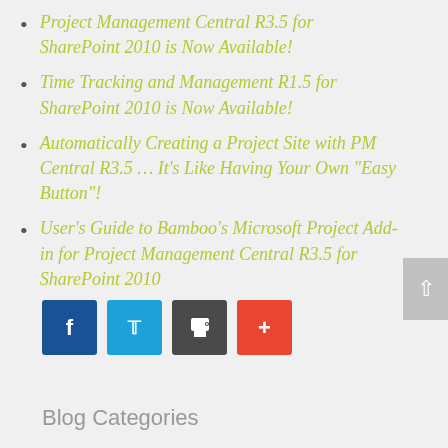Project Management Central R3.5 for SharePoint 2010 is Now Available!
Time Tracking and Management R1.5 for SharePoint 2010 is Now Available!
Automatically Creating a Project Site with PM Central R3.5 … It's Like Having Your Own “Easy Button”!
User’s Guide to Bamboo’s Microsoft Project Add-in for Project Management Central R3.5 for SharePoint 2010
[Figure (other): Social sharing buttons: Facebook (blue), Twitter (light blue), Print (dark gray), Plus/share (red-orange). Also a back-to-top arrow button on the right.]
Blog Categories